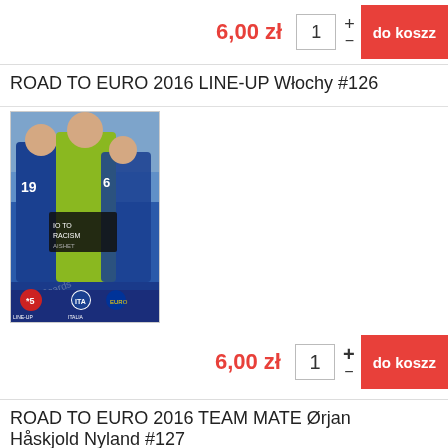6,00 zł
1
do kosz
ROAD TO EURO 2016 LINE-UP Włochy #126
[Figure (photo): Trading card image: Road to Euro 2016 Line-Up Italy card #126, showing Italian football players in blue and yellow jerseys, with card branding at bottom.]
6,00 zł
1
do kosz
ROAD TO EURO 2016 TEAM MATE Ørjan Håskjold Nyland #127
[Figure (photo): Partial trading card image: Road to Euro 2016 Team Mate card #127 for Ørjan Håskjold Nyland, partially visible at bottom of page.]